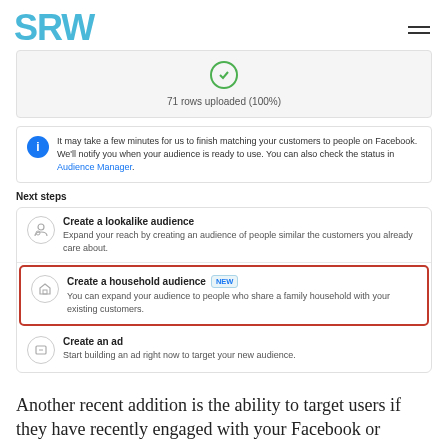SRW
[Figure (screenshot): Upload progress indicator showing a green circle checkmark and text '71 rows uploaded (100%)']
[Figure (screenshot): Info notification box with blue circle icon and text about matching customers to people on Facebook, with a link to Audience Manager]
Next steps
[Figure (screenshot): Next steps panel with three options: 'Create a lookalike audience', 'Create a household audience' (highlighted with red border, NEW badge), and 'Create an ad']
Another recent addition is the ability to target users if they have recently engaged with your Facebook or